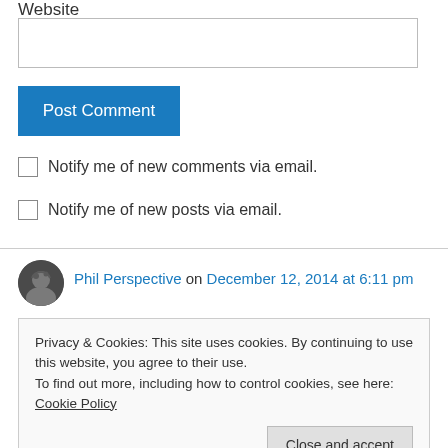Website
[Figure (other): Empty text input box for website URL]
Post Comment
Notify me of new comments via email.
Notify me of new posts via email.
Phil Perspective on December 12, 2014 at 6:11 pm
Privacy & Cookies: This site uses cookies. By continuing to use this website, you agree to their use.
To find out more, including how to control cookies, see here: Cookie Policy
Close and accept